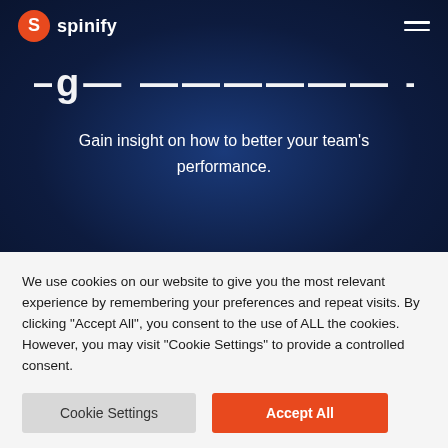spinify
- -g- ------ --
Gain insight on how to better your team's performance.
We use cookies on our website to give you the most relevant experience by remembering your preferences and repeat visits. By clicking "Accept All", you consent to the use of ALL the cookies. However, you may visit "Cookie Settings" to provide a controlled consent.
Cookie Settings | Accept All